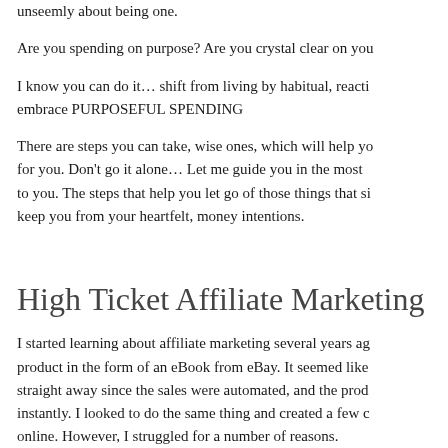unseemly about being one.
Are you spending on purpose? Are you crystal clear on you
I know you can do it… shift from living by habitual, reacti embrace PURPOSEFUL SPENDING
There are steps you can take, wise ones, which will help yo for you. Don't go it alone… Let me guide you in the most to you. The steps that help you let go of those things that si keep you from your heartfelt, money intentions.
High Ticket Affiliate Marketing
I started learning about affiliate marketing several years ago product in the form of an eBook from eBay. It seemed like straight away since the sales were automated, and the prod instantly. I looked to do the same thing and created a few c online. However, I struggled for a number of reasons.